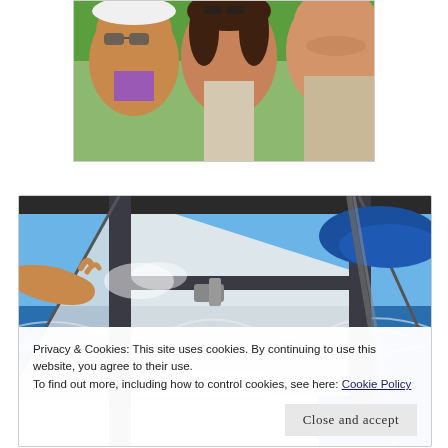[Figure (photo): Partial photo of people smiling outdoors, appears to be a group selfie with green foliage in background]
[Figure (photo): Photo taken from the deck of a sailboat looking along the mast and rigging, blue ocean and sky in background]
Privacy & Cookies: This site uses cookies. By continuing to use this website, you agree to their use.
To find out more, including how to control cookies, see here: Cookie Policy
Close and accept